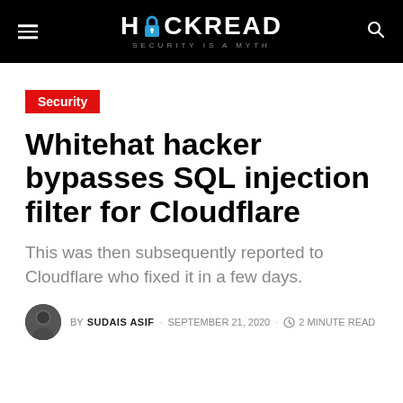HACKREAD — SECURITY IS A MYTH
Security
Whitehat hacker bypasses SQL injection filter for Cloudflare
This was then subsequently reported to Cloudflare who fixed it in a few days.
BY SUDAIS ASIF · SEPTEMBER 21, 2020 · 2 MINUTE READ